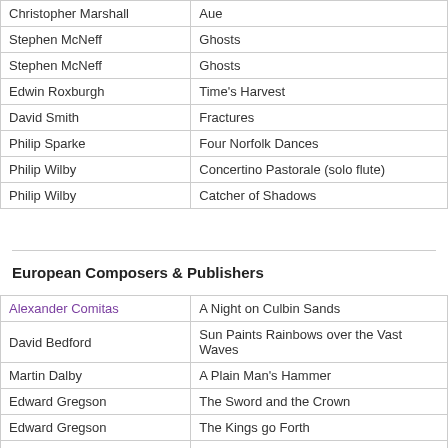| Composer | Work |
| --- | --- |
| Christopher Marshall | Aue |
| Stephen McNeff | Ghosts |
| Stephen McNeff | Ghosts |
| Edwin Roxburgh | Time's Harvest |
| David Smith | Fractures |
| Philip Sparke | Four Norfolk Dances |
| Philip Wilby | Concertino Pastorale (solo flute) |
| Philip Wilby | Catcher of Shadows |
European Composers & Publishers
| Composer | Work |
| --- | --- |
| Alexander Comitas | A Night on Culbin Sands |
| David Bedford | Sun Paints Rainbows over the Vast Waves |
| Martin Dalby | A Plain Man's Hammer |
| Edward Gregson | The Sword and the Crown |
| Edward Gregson | The Kings go Forth |
| Christopher Marshall | L'Homme Armé |
| Christopher Marshall | Resonance |
| Buxton Orr | John Gay Suite |
| Marco Pütz | Meltdown |